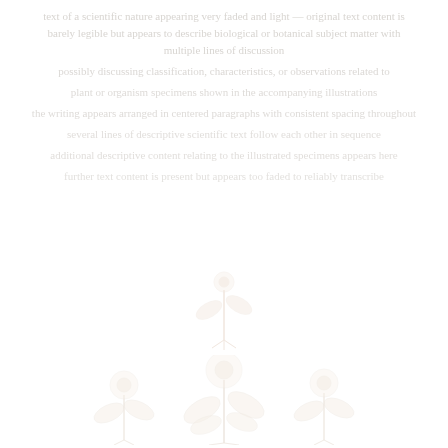text content describing scientific concepts with light faded appearance — appears to be a scientific or academic document page with very light/faded text and two illustrated figures
[Figure (illustration): Small scientific illustration, possibly a plant or organism specimen, positioned in the middle section of the page]
[Figure (illustration): Larger scientific illustration showing what appears to be botanical or biological specimens arranged in a cluster, positioned in the lower section of the page]